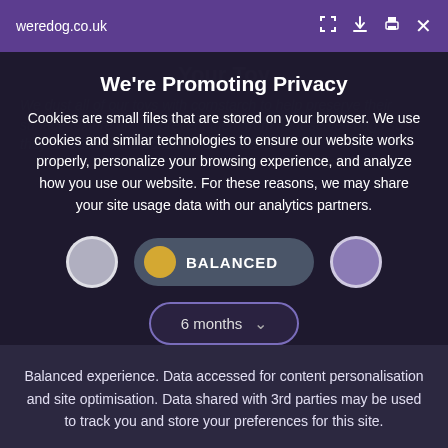weredog.co.uk
We're Promoting Privacy
Cookies are small files that are stored on your browser. We use cookies and similar technologies to ensure our website works properly, personalize your browsing experience, and analyze how you use our website. For these reasons, we may share your site usage data with our analytics partners.
[Figure (infographic): Three toggle/option circles: a grey circle on the left, a central pill-shaped toggle showing a gold dot with BALANCED label in dark pill, and a purple circle on the right. Below is a dropdown showing '6 months' with a chevron.]
Balanced experience. Data accessed for content personalisation and site optimisation. Data shared with 3rd parties may be used to track you and store your preferences for this site.